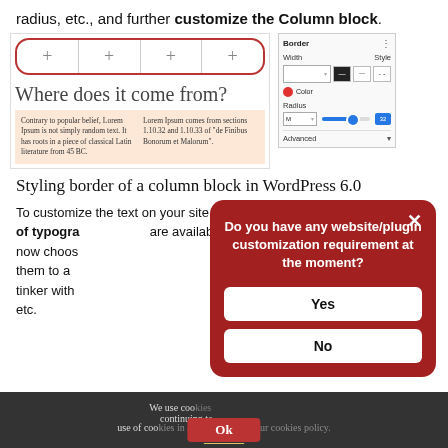radius, etc., and further customize the Column block.
[Figure (screenshot): Screenshot showing a WordPress column block editor with four column cells (showing '+' icons) with a red border, a 'Where does it come from?' heading, a two-column lorem ipsum content area with peach background, and a right panel showing Border settings with Width, Style, Color (red dot), Radius slider, and Advanced options.]
Styling border of a column block in WordPress 6.0
To customize the text on your site pages, a wide range of typography options are available. You can now choose a font family, set them to a bold or italic, and tinker with font size, appearance, etc.
[Figure (screenshot): Modal dialog popup with dark red background asking 'Do you have any website/plugin customization requirement at the moment?' with Yes and No buttons.]
We use cookies continuing to use of cookies in accordance with our cookies policy. More info Ok